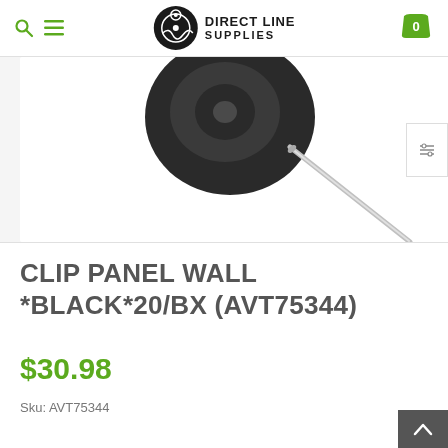[Figure (logo): Direct Line Supplies logo with search and menu icons in header]
[Figure (photo): Product photo showing a black clip panel wall accessory with a metal pin/needle on white background]
CLIP PANEL WALL *BLACK*20/BX (AVT75344)
$30.98
Sku: AVT75344